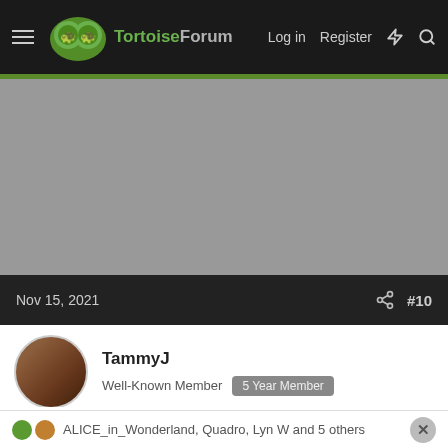TortoiseForum — Log in | Register
[Figure (screenshot): Gray advertisement/placeholder area]
Nov 15, 2021  #10
TammyJ
Well-Known Member  5 Year Member
I feel sorry for this tortoise and I hope he somehow finds himself a good forever home.
ALICE_in_Wonderland, Quadro, Lyn W and 5 others